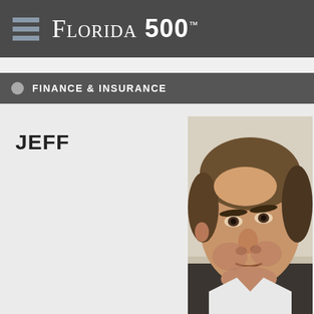FLORIDA 500™
FINANCE & INSURANCE
JEFF
[Figure (photo): Close-up portrait photo of a middle-aged man with short brown hair looking upward, wearing a collared shirt, photographed against a light background.]